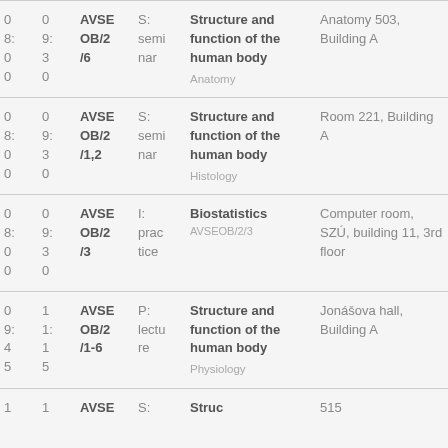| Time start | Time end | Code | Type | Subject | Location |
| --- | --- | --- | --- | --- | --- |
| 0
8:
0
0 | 0
9:
3
0 | AVSE OB/2/6 | S: seminar | Structure and function of the human body
Anatomy | Anatomy 503, Building A |
| 0
8:
0
0 | 0
9:
3
0 | AVSE OB/2/1,2 | S: seminar | Structure and function of the human body
Histology | Room 221, Building A |
| 0
8:
0
0 | 0
9:
3
0 | AVSE OB/2/3 | I: practice | Biostatistics
AVSEOB/2/3 | Computer room, SZÚ, building 11, 3rd floor |
| 0
9:
4
5 | 1
1:
1
5 | AVSE OB/2/1-6 | P: lecture | Structure and function of the human body
Physiology | Jonášova hall, Building A |
| 1 | 1 | AVSE | S: | Structure... | 515 |